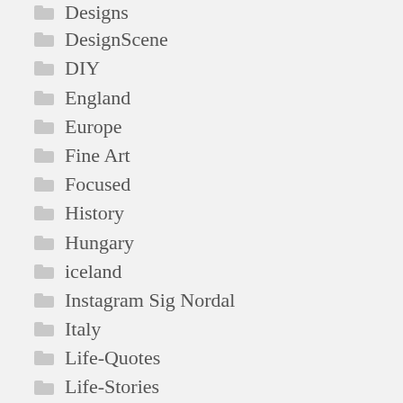Designs
DesignScene
DIY
England
Europe
Fine Art
Focused
History
Hungary
iceland
Instagram Sig Nordal
Italy
Life-Quotes
Life-Stories